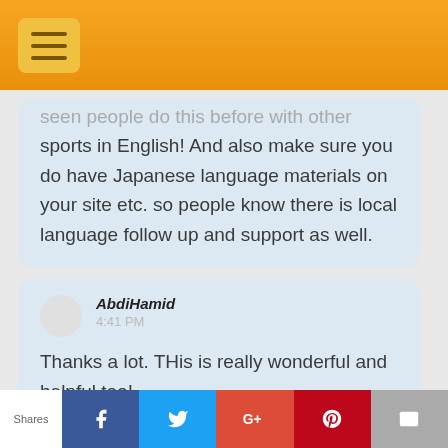Navigation menu header bar
seen people do this before with other sports in English! And also make sure you do have Japanese language materials on your site etc. so people know there is local language follow up and support as well.
AbdiHamid
4:41 PM
Thanks a lot. THis is really wonderful and helpful too!
Harish Joshi
Shares | Facebook | Twitter | Google+ | Pinterest | Email